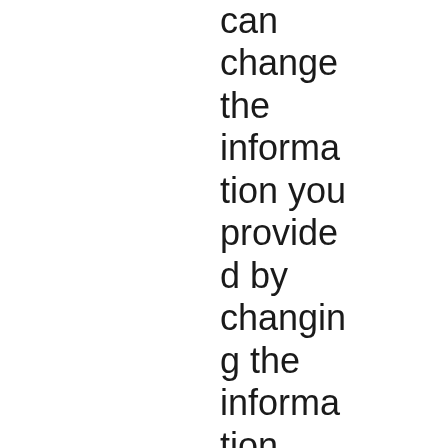can change the information you provided by changing the information yourself or by